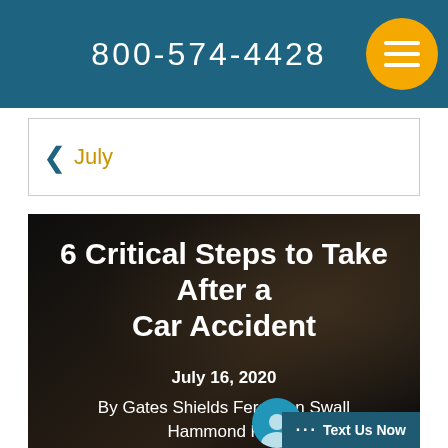800-574-4428
< July
6 Critical Steps to Take After a Car Accident
July 16, 2020
By Gates Shields Ferguson Swall Hammond P.A.
[Figure (infographic): Social media share buttons: Facebook, Twitter, Pinterest, LinkedIn icons in gold/yellow circles, plus a Text Us Now chat bubble in the bottom right corner]